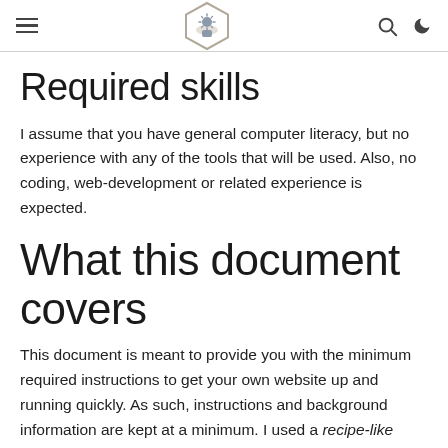≡ [logo] 🔍 🌙
Required skills
I assume that you have general computer literacy, but no experience with any of the tools that will be used. Also, no coding, web-development or related experience is expected.
What this document covers
This document is meant to provide you with the minimum required instructions to get your own website up and running quickly. As such, instructions and background information are kept at a minimum. I used a recipe-like